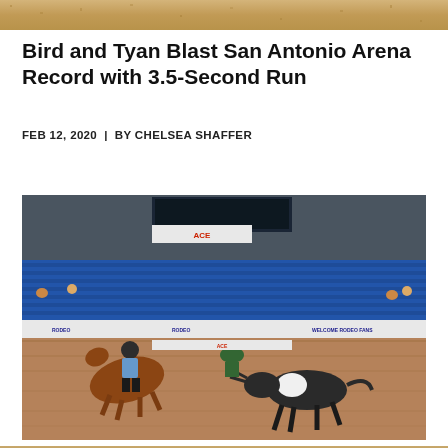[Figure (photo): Top decorative banner with sandy/tan textured pattern]
Bird and Tyan Blast San Antonio Arena Record with 3.5-Second Run
FEB 12, 2020  |  BY CHELSEA SHAFFER
[Figure (photo): Rodeo scene inside a large indoor arena showing a steer wrestler on horseback chasing a black and white steer across a dirt arena floor. Blue stadium seating visible in background along with various sponsor banners including ACE, Budweiser, and RODEO signage. Scoreboard visible overhead.]